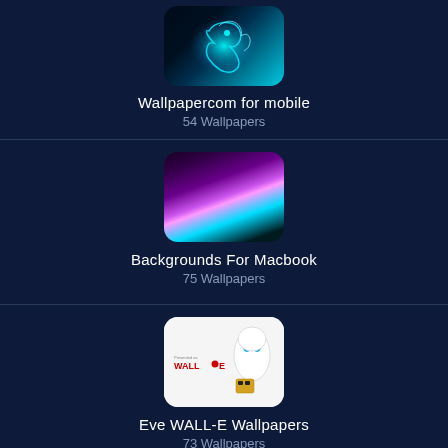[Figure (screenshot): App thumbnail for Wallpapercom for mobile showing a neon dragon on dark background]
Wallpapercom for mobile
54 Wallpapers
[Figure (screenshot): App thumbnail for Backgrounds For Macbook showing pink and teal aurora/light rays on dark background]
Backgrounds For Macbook
75 Wallpapers
[Figure (screenshot): App thumbnail for Eve WALL-E Wallpapers showing WALL-E and EVE robot on white background]
Eve WALL-E Wallpapers
73 Wallpapers